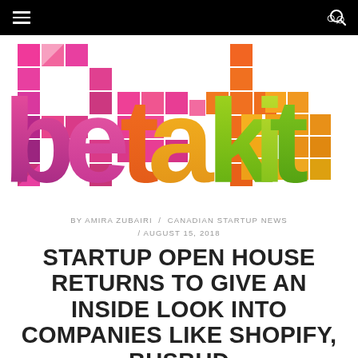betakit navigation bar
[Figure (logo): BetaKit logo made of colorful pixel/triangle mosaic lettering spelling 'betakit' in pink, red, orange, yellow, green and blue colors]
BY AMIRA ZUBAIRI / CANADIAN STARTUP NEWS / AUGUST 15, 2018
STARTUP OPEN HOUSE RETURNS TO GIVE AN INSIDE LOOK INTO COMPANIES LIKE SHOPIFY, BUSBUD